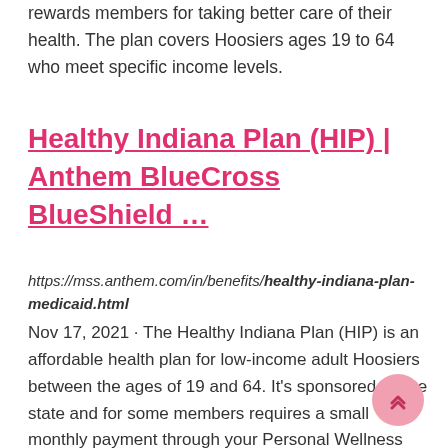rewards members for taking better care of their health. The plan covers Hoosiers ages 19 to 64 who meet specific income levels.
Healthy Indiana Plan (HIP) | Anthem BlueCross BlueShield …
https://mss.anthem.com/in/benefits/healthy-indiana-plan-medicaid.html
Nov 17, 2021 · The Healthy Indiana Plan (HIP) is an affordable health plan for low-income adult Hoosiers between the ages of 19 and 64. It's sponsored by the state and for some members requires a small monthly payment through your Personal Wellness and Responsibility (POWER) Account. HIP offers full health benefits including hospital care, behavioral health…